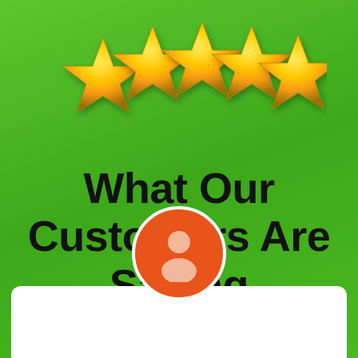[Figure (illustration): Five gold 3D stars arranged in a row against a green background]
What Our Customers Are Saying
[Figure (illustration): Orange circular avatar icon with a white person silhouette, partially overlapping a white card at the bottom]